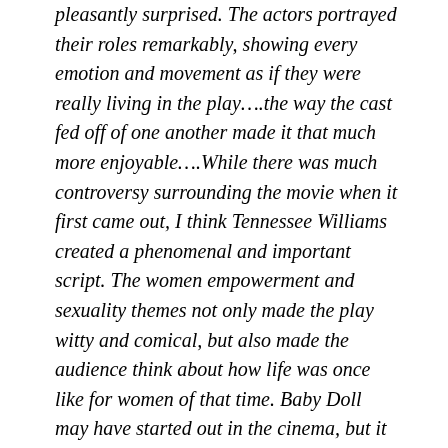pleasantly surprised. The actors portrayed their roles remarkably, showing every emotion and movement as if they were really living in the play….the way the cast fed off of one another made it that much more enjoyable….While there was much controversy surrounding the movie when it first came out, I think Tennessee Williams created a phenomenal and important script. The women empowerment and sexuality themes not only made the play witty and comical, but also made the audience think about how life was once like for women of that time. Baby Doll may have started out in the cinema, but it was meant for the theatre. It is a superb play that is brought to life by extremely talented